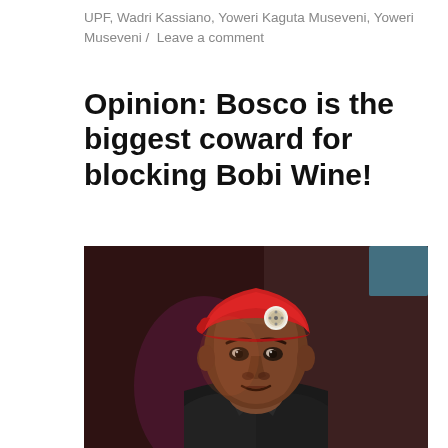UPF, Wadri Kassiano, Yoweri Kaguta Museveni, Yoweri Museveni / Leave a comment
Opinion: Bosco is the biggest coward for blocking Bobi Wine!
[Figure (photo): Portrait of a man wearing a red beret with a badge, dressed in a black leather jacket, looking directly at the camera against a dark reddish-brown background with dramatic lighting.]